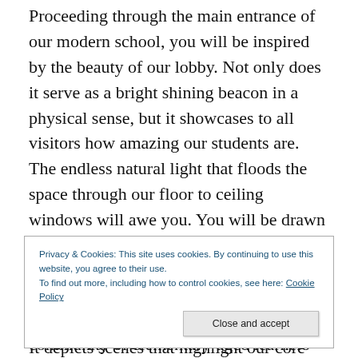Proceeding through the main entrance of our modern school, you will be inspired by the beauty of our lobby. Not only does it serve as a bright shining beacon in a physical sense, but it showcases to all visitors how amazing our students are. The endless natural light that floods the space through our floor to ceiling windows will awe you. You will be drawn to the mural that spans the entire length of the wall opposite the windows, a product of a partnership between various local artists, our art teachers, and our students. It depicts scenes that highlight our core STARFISH values (see A Focus on What is Learned).
Privacy & Cookies: This site uses cookies. By continuing to use this website, you agree to their use. To find out more, including how to control cookies, see here: Cookie Policy
community of elementary-aged learners and leaders, it will